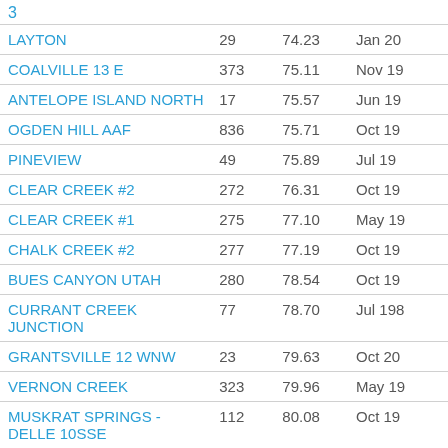3
| Station |  |  |  |
| --- | --- | --- | --- |
| LAYTON | 29 | 74.23 | Jan 20 |
| COALVILLE 13 E | 373 | 75.11 | Nov 19 |
| ANTELOPE ISLAND NORTH | 17 | 75.57 | Jun 19 |
| OGDEN HILL AAF | 836 | 75.71 | Oct 19 |
| PINEVIEW | 49 | 75.89 | Jul 19 |
| CLEAR CREEK #2 | 272 | 76.31 | Oct 19 |
| CLEAR CREEK #1 | 275 | 77.10 | May 19 |
| CHALK CREEK #2 | 277 | 77.19 | Oct 19 |
| BUES CANYON UTAH | 280 | 78.54 | Oct 19 |
| CURRANT CREEK JUNCTION | 77 | 78.70 | Jul 198 |
| GRANTSVILLE 12 WNW | 23 | 79.63 | Oct 20 |
| VERNON CREEK | 323 | 79.96 | May 19 |
| MUSKRAT SPRINGS - DELLE 10SSE | 112 | 80.08 | Oct 19 |